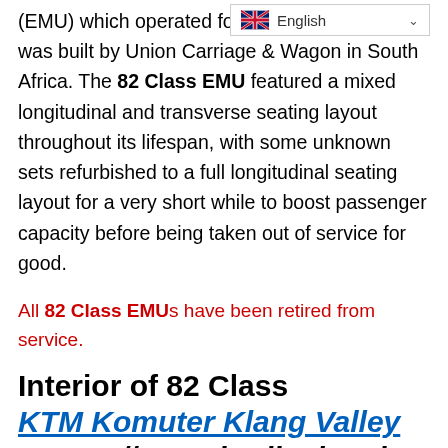The 82 Class was the first of (EMU) which operated for [link] was built by Union Carriage & Wagon in South Africa. The 82 Class EMU featured a mixed longitudinal and transverse seating layout throughout its lifespan, with some unknown sets refurbished to a full longitudinal seating layout for a very short while to boost passenger capacity before being taken out of service for good.
All 82 Class EMUs have been retired from service.
Interior of 82 Class KTM Komuter Klang Valley Sector // Longitudinal and